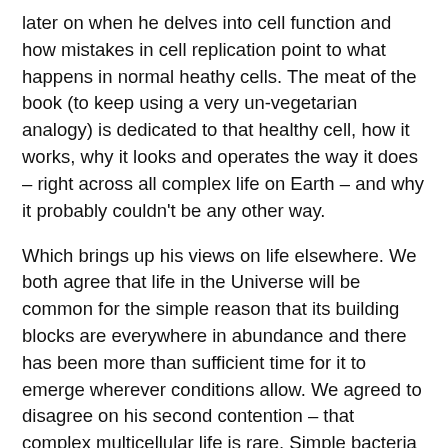later on when he delves into cell function and how mistakes in cell replication point to what happens in normal heathy cells. The meat of the book (to keep using a very un-vegetarian analogy) is dedicated to that healthy cell, how it works, why it looks and operates the way it does – right across all complex life on Earth – and why it probably couldn't be any other way.
Which brings up his views on life elsewhere. We both agree that life in the Universe will be common for the simple reason that its building blocks are everywhere in abundance and there has been more than sufficient time for it to emerge wherever conditions allow. We agreed to disagree on his second contention – that complex multicellular life is rare. Simple bacteria like creatures existed on Earth for 2 billion years before the Eukaryotic Revolution which took another 2 ½ billion years to produce intelligence. This was, the author maintains, a once in a life time event. It would be entirely possible, he maintains, for bacteria to dominate the planet right up to its extinction when our Sun finally burns out. This is the apparent fate of most life on most worlds (which would explain the lack of signals or spaceships. Bacteria has little